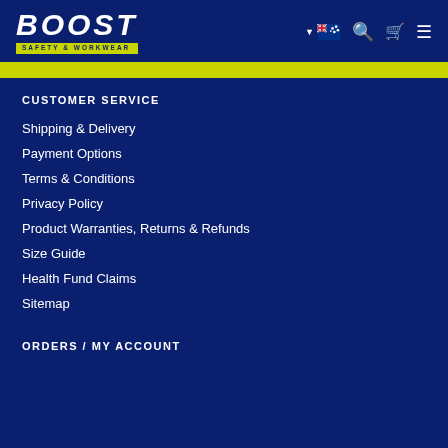[Figure (logo): Boost Safety & Workwear logo with yellow tagline bar]
CUSTOMER SERVICE
Shipping & Delivery
Payment Options
Terms & Conditions
Privacy Policy
Product Warranties, Returns & Refunds
Size Guide
Health Fund Claims
Sitemap
ORDERS / MY ACCOUNT